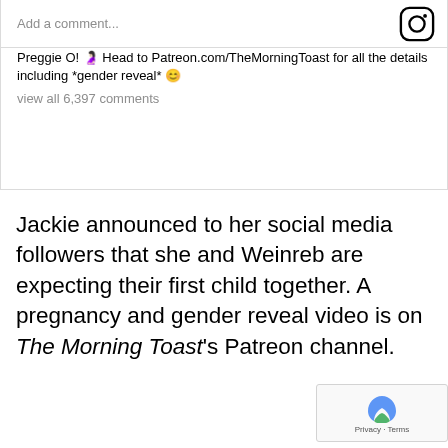[Figure (screenshot): Instagram post screenshot showing 109,085 likes, username jackieoshry, caption about pregnancy announcement directing to Patreon.com/TheMorningToast, and view all 6,397 comments link, with add a comment bar and Instagram icon]
Jackie announced to her social media followers that she and Weinreb are expecting their first child together. A pregnancy and gender reveal video is on The Morning Toast's Patreon channel.